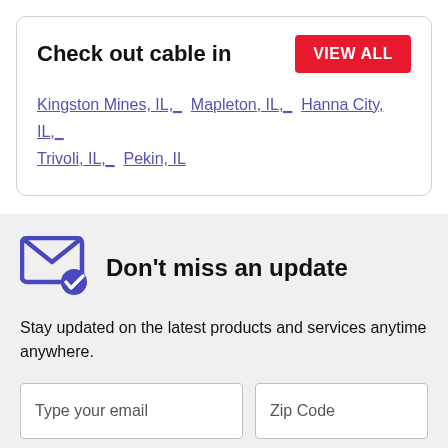Check out cable in
Kingston Mines, IL,_  Mapleton, IL,_  Hanna City, IL,_  Trivoli, IL,_  Pekin, IL
Don't miss an update
Stay updated on the latest products and services anytime anywhere.
Type your email
Zip Code